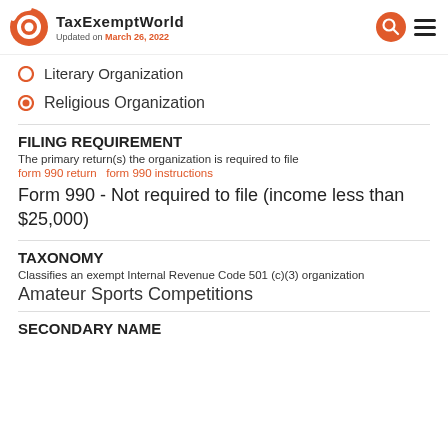TaxExemptWorld
Updated on March 26, 2022
Literary Organization
Religious Organization
FILING REQUIREMENT
The primary return(s) the organization is required to file
form 990 return  form 990 instructions
Form 990 - Not required to file (income less than $25,000)
TAXONOMY
Classifies an exempt Internal Revenue Code 501 (c)(3) organization
Amateur Sports Competitions
SECONDARY NAME